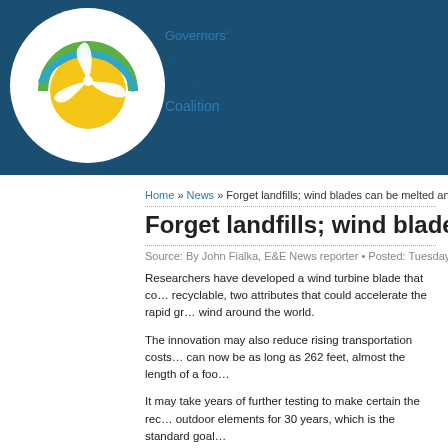[Figure (logo): Governors' Wind & Solar Energy Coalition logo with circular wind turbine and sun emblem]
Home » News » Forget landfills; wind blades can be melted and…
Forget landfills; wind blades can be…
Source: By John Fialka, E&E News reporter • Posted: Tuesday,…
Researchers have developed a wind turbine blade that co… recyclable, two attributes that could accelerate the rapid g… wind around the world.
The innovation may also reduce rising transportation costs… can now be as long as 262 feet, almost the length of a foo…
It may take years of further testing to make certain the rec… outdoor elements for 30 years, which is the standard goal…